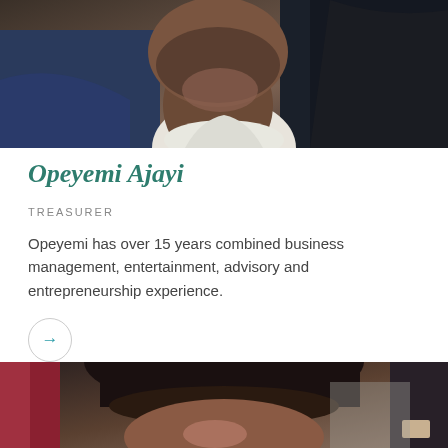[Figure (photo): Close-up photo of a man in a blue jacket and white shirt, cropped to show neck and lower face area with beard]
Opeyemi Ajayi
TREASURER
Opeyemi has over 15 years combined business management, entertainment, advisory and entrepreneurship experience.
[Figure (photo): Partial close-up photo of another person, showing the top of their head and forehead]